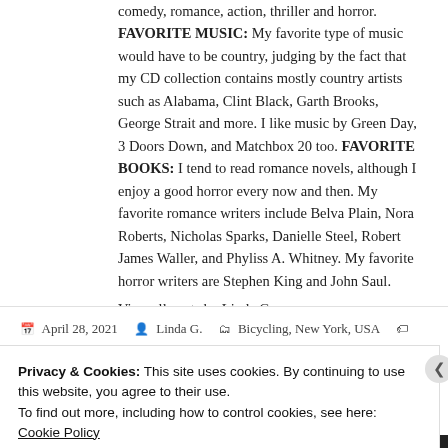comedy, romance, action, thriller and horror. FAVORITE MUSIC: My favorite type of music would have to be country, judging by the fact that my CD collection contains mostly country artists such as Alabama, Clint Black, Garth Brooks, George Strait and more. I like music by Green Day, 3 Doors Down, and Matchbox 20 too. FAVORITE BOOKS: I tend to read romance novels, although I enjoy a good horror every now and then. My favorite romance writers include Belva Plain, Nora Roberts, Nicholas Sparks, Danielle Steel, Robert James Waller, and Phyliss A. Whitney. My favorite horror writers are Stephen King and John Saul.
View all posts by Linda G. →
April 28, 2021   Linda G.   Bicycling, New York, USA
Privacy & Cookies: This site uses cookies. By continuing to use this website, you agree to their use.
To find out more, including how to control cookies, see here: Cookie Policy
Close and accept